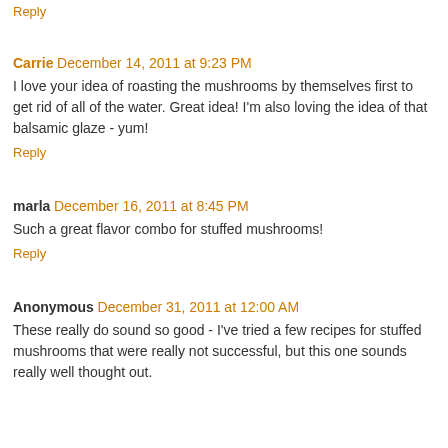Reply
Carrie December 14, 2011 at 9:23 PM
I love your idea of roasting the mushrooms by themselves first to get rid of all of the water. Great idea! I'm also loving the idea of that balsamic glaze - yum!
Reply
marla December 16, 2011 at 8:45 PM
Such a great flavor combo for stuffed mushrooms!
Reply
Anonymous December 31, 2011 at 12:00 AM
These really do sound so good - I've tried a few recipes for stuffed mushrooms that were really not successful, but this one sounds really well thought out.